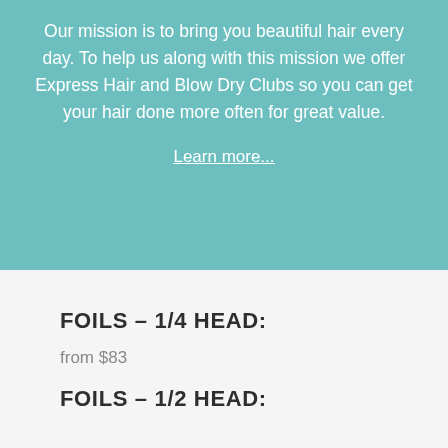Our mission is to bring you beautiful hair every day. To help us along with this mission we offer Express Hair and Blow Dry Clubs so you can get your hair done more often for great value.
Learn more...
FOILS – 1/4 HEAD:
from $83
FOILS – 1/2 HEAD: